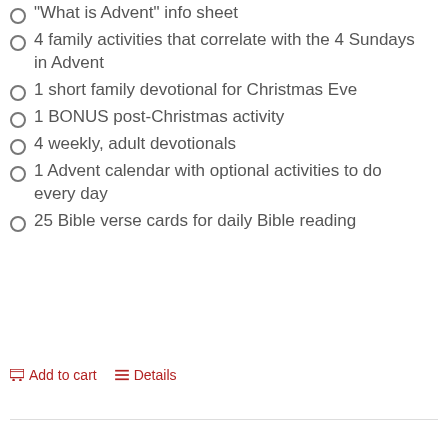“What is Advent” info sheet
4 family activities that correlate with the 4 Sundays in Advent
1 short family devotional for Christmas Eve
1 BONUS post-Christmas activity
4 weekly, adult devotionals
1 Advent calendar with optional activities to do every day
25 Bible verse cards for daily Bible reading
Add to cart   Details